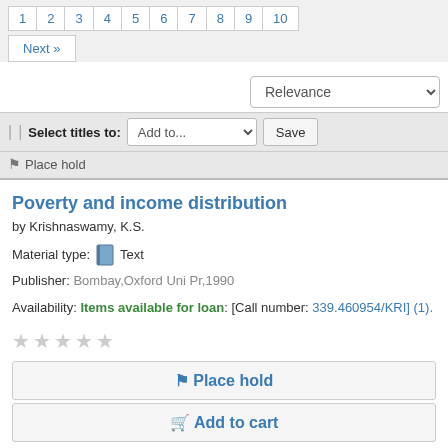1 2 3 4 5 6 7 8 9 10 Next »
Relevance
| | Select titles to: Add to... Save
Place hold
Poverty and income distribution
by Krishnaswamy, K.S.
Material type: Text
Publisher: Bombay,Oxford Uni Pr,1990
Availability: Items available for loan: [Call number: 339.460954/KRI] (1).
Place hold
Add to cart